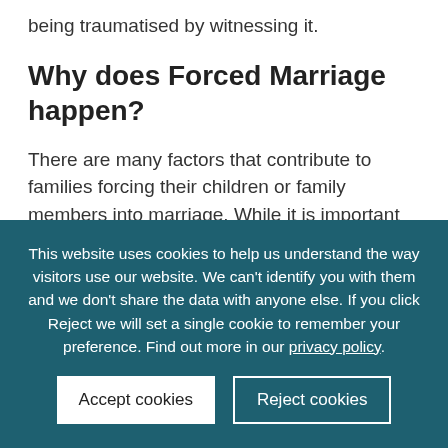being traumatised by witnessing it.
Why does Forced Marriage happen?
There are many factors that contribute to families forcing their children or family members into marriage. While it is important to understand these to effectively support the victim, it is important to understand that no reason…
This website uses cookies to help us understand the way visitors use our website. We can't identify you with them and we don't share the data with anyone else. If you click Reject we will set a single cookie to remember your preference. Find out more in our privacy policy.
Accept cookies
Reject cookies